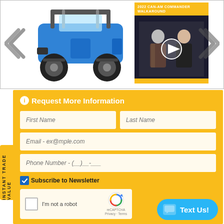[Figure (photo): Carousel showing a blue Can-Am Commander UTV on the left, a video thumbnail '2022 CAN-AM COMMANDER WALKAROUND' in the center, with left and right navigation arrows on the sides.]
Request More Information
First Name
Last Name
Email - ex@mple.com
Phone Number - (__)__-___
Subscribe to Newsletter
[Figure (screenshot): reCAPTCHA widget with checkbox and 'I'm not a robot' text, reCAPTCHA logo, Privacy and Terms links]
Text Us!